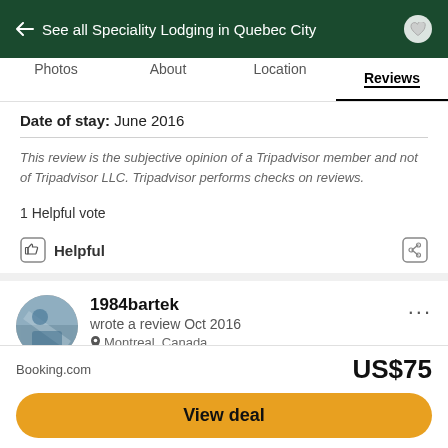← See all Speciality Lodging in Quebec City
Photos   About   Location   Reviews
Date of stay: June 2016
This review is the subjective opinion of a Tripadvisor member and not of Tripadvisor LLC. Tripadvisor performs checks on reviews.
1 Helpful vote
Helpful
1984bartek
wrote a review Oct 2016
Montreal, Canada
2 contributions • 3 helpful votes
Booking.com   US$75   View deal